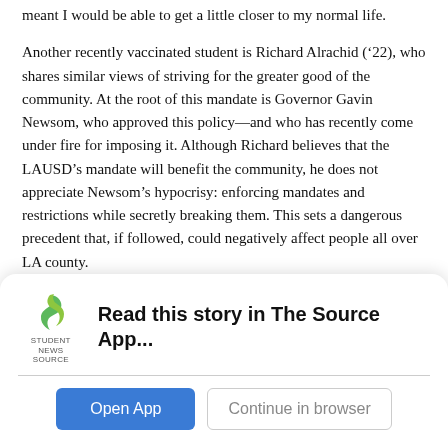meant I would be able to get a little closer to my normal life.
Another recently vaccinated student is Richard Alrachid (’22), who shares similar views of striving for the greater good of the community. At the root of this mandate is Governor Gavin Newsom, who approved this policy—and who has recently come under fire for imposing it. Although Richard believes that the LAUSD’s mandate will benefit the community, he does not appreciate Newsom’s hypocrisy: enforcing mandates and restrictions while secretly breaking them. This sets a dangerous precedent that, if followed, could negatively affect people all over LA county.
“I think if Newsom stuck more closely to what he preaches then more people would be willing to follow his lead,” Richard said.
[Figure (logo): Student News Source app logo - green stylized S shape with 'STUDENT NEWS SOURCE' text below]
Read this story in The Source App...